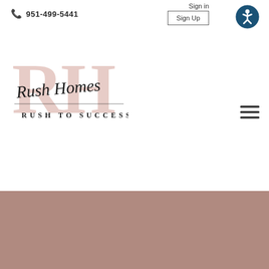951-499-5441
Sign in
Sign Up
[Figure (logo): Rush Homes logo with stylized RH letters in muted pink/rose, cursive 'Rush Homes' text overlay, and tagline 'RUSH TO SUCCESS' below]
[Figure (other): Hamburger menu icon (three horizontal lines)]
[Figure (illustration): Accessibility icon - circular dark teal button with white person figure (wheelchair accessibility symbol)]
[Figure (photo): Muted rose/mauve colored hero image section at the bottom of the page]